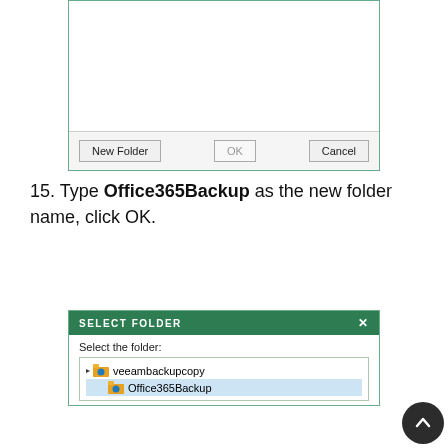[Figure (screenshot): Bottom portion of a Windows folder browser dialog showing an empty folder list area with New Folder, OK, and Cancel buttons along the bottom.]
15. Type Office365Backup as the new folder name, click OK.
[Figure (screenshot): SELECT FOLDER dialog showing folder tree with veeambackupcopy expanded and Office365Backup subfolder selected (highlighted in blue).]